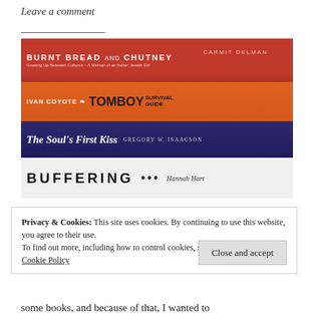Leave a comment
[Figure (photo): Stack of books showing spines: 'Burnt Bread and Chutney' by Carmit Delman (red), 'Ivan Coyote Tomboy Survival Guide' (orange), 'The Soul's First Kiss' by Gregory W. Isaacson (dark blue/purple), 'Buffering' by Hannah Hart (white), on a wooden shelf]
Privacy & Cookies: This site uses cookies. By continuing to use this website, you agree to their use.
To find out more, including how to control cookies, see here:
Cookie Policy
some books, and because of that, I wanted to